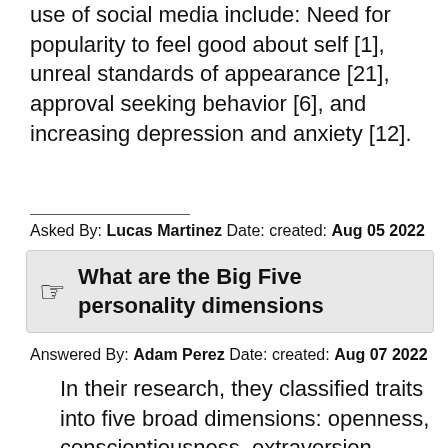use of social media include: Need for popularity to feel good about self [1], unreal standards of appearance [21], approval seeking behavior [6], and increasing depression and anxiety [12].
Asked By: Lucas Martinez Date: created: Aug 05 2022
What are the Big Five personality dimensions
Answered By: Adam Perez Date: created: Aug 07 2022
In their research, they classified traits into five broad dimensions: openness, conscientiousness, extraversion, agreeableness, and neuroticism. You can remember them by using the acronyms OCEAN or CANOE.